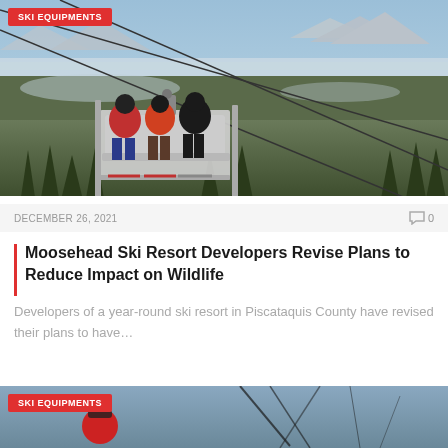[Figure (photo): Ski lift chair with three skiers riding up, snowy landscape and mountains visible in background, forests and frozen lake below]
SKI EQUIPMENTS
DECEMBER 26, 2021
0
Moosehead Ski Resort Developers Revise Plans to Reduce Impact on Wildlife
Developers of a year-round ski resort in Piscataquis County have revised their plans to have…
[Figure (photo): Partial view of second article image showing winter ski scene with person in red helmet]
SKI EQUIPMENTS